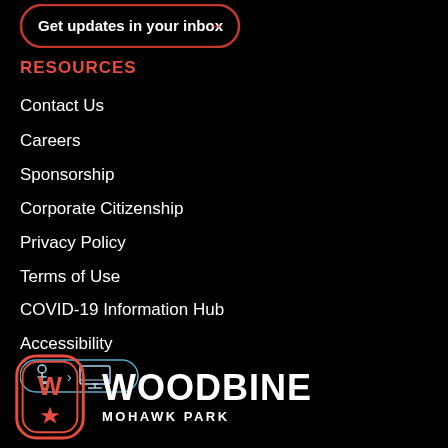[Figure (infographic): Button with red border and text 'Get updates in your inbox →']
RESOURCES
Contact Us
Careers
Sponsorship
Corporate Citizenship
Privacy Policy
Terms of Use
COVID-19 Information Hub
Accessibility
[Figure (logo): Accessibility icons: wheelchair symbol and monitor/computer symbol in blue pill-shaped badge]
[Figure (logo): Woodbine Mohawk Park logo: red oval badge with W and star, beside text WOODBINE MOHAWK PARK]